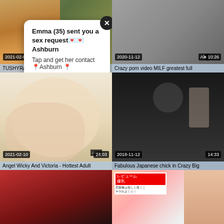[Figure (screenshot): Video thumbnail grid showing adult content website with 6 video thumbnails in a 2-column grid layout, overlaid with a popup notification reading 'Emma (35) sent you a sex request Ashburn / Tap and get her contact Ashburn']
Emma (35) sent you a sex request
Ashburn
Tap and get her contact ⁠Ashburn ⁠
TUSHYRAW, Anal-crazy hottie on the
Crazy porn video MILF greatest full
Angel Wicky And Victoria - Hottest Adult
Fabulous Japanese chick in Crazy Big